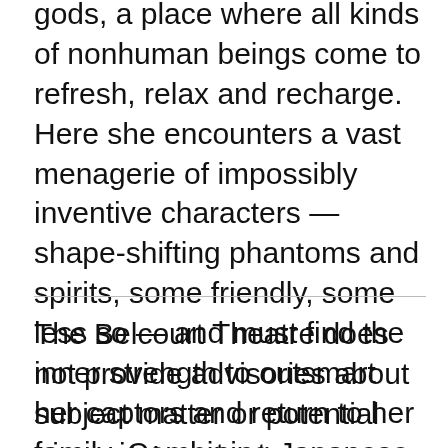gods, a place where all kinds of nonhuman beings come to refresh, relax and recharge. Here she encounters a vast menagerie of impossibly inventive characters — shape-shifting phantoms and spirits, some friendly, some less so — and must find the inner strength to outsmart her captors and return to her family. Combining Japanese mythology with Through the Looking Glass-type whimsy, SPIRITED AWAY cemented Miyazaki's reputation as an icon of inspired animation and wondrous, lyrical storytelling.
The Belcourt Theatre does not provide advisories about subject matter or potential triggering content, as sensitivities vary from person to person.
Beyond the synopses, trailers and review links on our website, other sources of information about content and age-appropriateness for specific films can be found on Common Sense Media, IMDb and